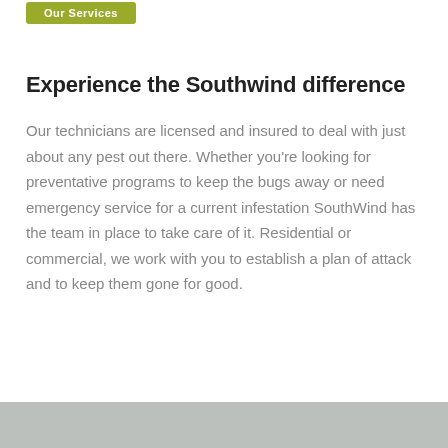Our Services
Experience the Southwind difference
Our technicians are licensed and insured to deal with just about any pest out there. Whether you're looking for preventative programs to keep the bugs away or need emergency service for a current infestation SouthWind has the team in place to take care of it. Residential or commercial, we work with you to establish a plan of attack and to keep them gone for good.
[Figure (photo): Partial image of technicians visible at the bottom of the page]